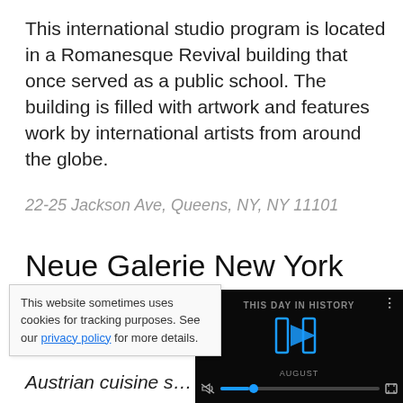This international studio program is located in a Romanesque Revival building that once served as a public school. The building is filled with artwork and features work by international artists from around the globe.
22-25 Jackson Ave, Queens, NY, NY 11101
Neue Galerie New York
This beautiful museum features late 19th and early 20th ce... fine and decorativ... the largest collect...
This website sometimes uses cookies for tracking purposes. See our privacy policy for more details.
[Figure (screenshot): Video overlay showing a dark-themed video player with 'THIS DAY IN HISTORY' label, a blue play button logo, audio muted icon, progress bar with blue dot, and fullscreen icon.]
Austrian cuisine s...